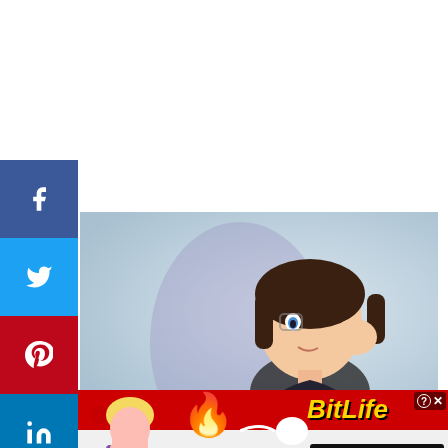[Figure (screenshot): Social media sharing sidebar with Facebook (blue), Twitter (light blue), Pinterest (red), LinkedIn (blue), Tumblr (dark blue) buttons and infolinks label]
[Figure (photo): Video thumbnail showing a young person with dark hair holding hand to face against a light blue/grey background]
[Figure (screenshot): BitLife game advertisement banner with red background, FAIL text, flame emoji, face-palm emoji, sperm icon, BitLife logo in gold, and START A NEW LIFE button]